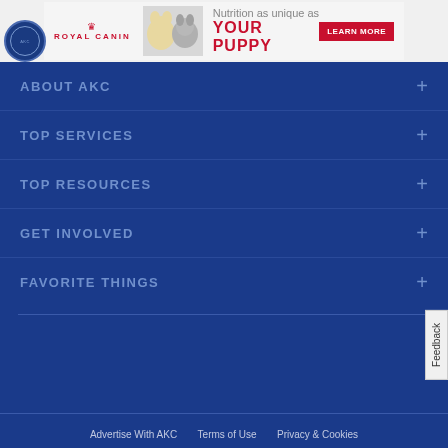[Figure (illustration): Royal Canin advertisement banner with logo, puppy and kitten photo, tagline 'Nutrition as unique as YOUR PUPPY' and red LEARN MORE button]
ABOUT AKC
TOP SERVICES
TOP RESOURCES
GET INVOLVED
FAVORITE THINGS
Advertise With AKC   Terms of Use   Privacy & Cookies